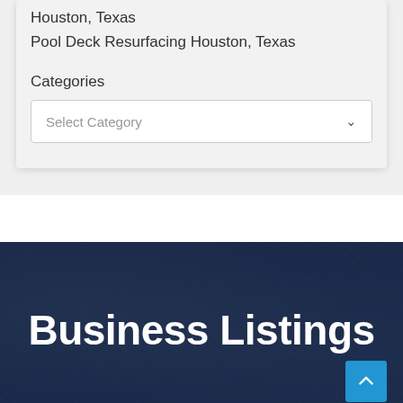Houston, Texas
Pool Deck Resurfacing Houston, Texas
Categories
Select Category
Business Listings